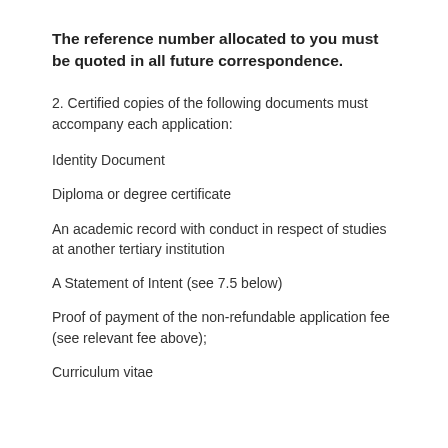The reference number allocated to you must be quoted in all future correspondence.
2. Certified copies of the following documents must accompany each application:
Identity Document
Diploma or degree certificate
An academic record with conduct in respect of studies at another tertiary institution
A Statement of Intent (see 7.5 below)
Proof of payment of the non-refundable application fee (see relevant fee above);
Curriculum vitae